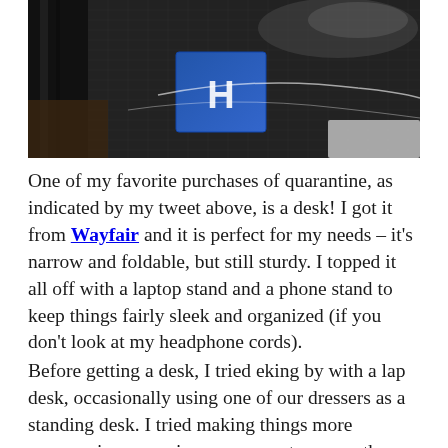[Figure (photo): A dark overhead photo showing a black carbon-fiber patterned surface (likely a bag or headphones), a blue box with a white H logo, and dark background elements.]
One of my favorite purchases of quarantine, as indicated by my tweet above, is a desk! I got it from Wayfair and it is perfect for my needs – it's narrow and foldable, but still sturdy. I topped it all off with a laptop stand and a phone stand to keep things fairly sleek and organized (if you don't look at my headphone cords).
Before getting a desk, I tried eking by with a lap desk, occasionally using one of our dressers as a standing desk. I tried making things more ergonomic – propping my computer up on the table with books, sitting on a stack of pillows, using a